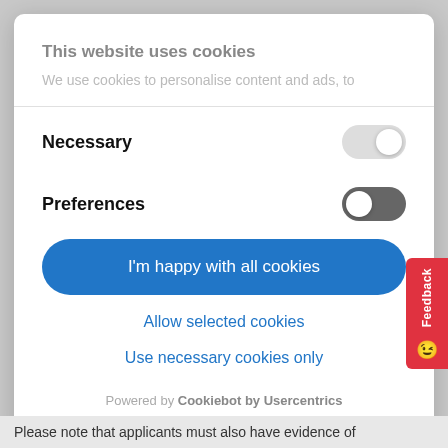This website uses cookies
We use cookies to personalise content and ads, to
Necessary
Preferences
I'm happy with all cookies
Allow selected cookies
Use necessary cookies only
Powered by Cookiebot by Usercentrics
Please note that applicants must also have evidence of